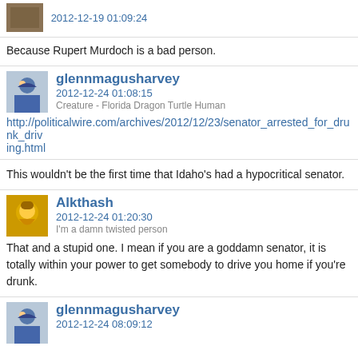2012-12-19 01:09:24
Because Rupert Murdoch is a bad person.
glennmagusharvey
2012-12-24 01:08:15
Creature - Florida Dragon Turtle Human
http://politicalwire.com/archives/2012/12/23/senator_arrested_for_drunk_driving.html
This wouldn't be the first time that Idaho's had a hypocritical senator.
Alkthash
2012-12-24 01:20:30
I'm a damn twisted person
That and a stupid one. I mean if you are a goddamn senator, it is totally within your power to get somebody to drive you home if you're drunk.
glennmagusharvey
2012-12-24 08:09:12